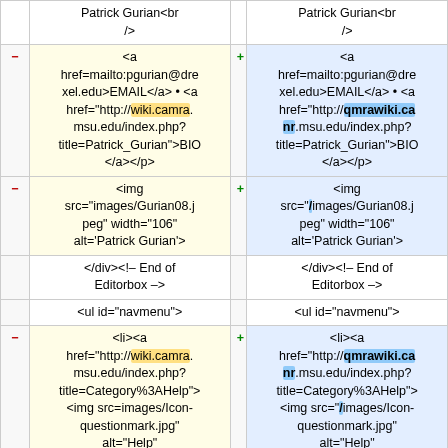|  | Patrick Gurian<br
/> |  | Patrick Gurian<br
/> |
| − | <a href=mailto:pgurian@drexel.edu>EMAIL</a> • <a href="http://wiki.camra.msu.edu/index.php?title=Patrick_Gurian">BIO</a></p> | + | <a href=mailto:pgurian@drexel.edu>EMAIL</a> • <a href="http://qmrawiki.camr.msu.edu/index.php?title=Patrick_Gurian">BIO</a></p> |
| − | <img src="images/Gurian08.jpeg" width="106" alt='Patrick Gurian'> | + | <img src="/images/Gurian08.jpeg" width="106" alt='Patrick Gurian'> |
|  | </div><!-- End of Editorbox --> |  | </div><!-- End of Editorbox --> |
|  | <ul id="navmenu"> |  | <ul id="navmenu"> |
| − | <li><a href="http://wiki.camra.msu.edu/index.php?title=Category%3AHelp"><img src=images/Icon-questionmark.jpg" alt="Help" class="navimage">Help | + | <li><a href="http://qmrawiki.camr.msu.edu/index.php?title=Category%3AHelp"><img src="/images/Icon-questionmark.jpg" alt="Help" class="navimage">Help |